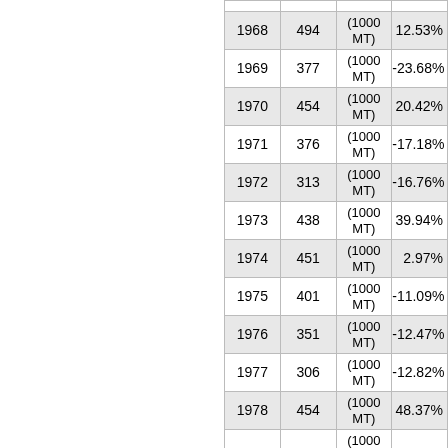| Year | Value | Unit | % Change |
| --- | --- | --- | --- |
| 1968 | 494 | (1000 MT) | 12.53% |
| 1969 | 377 | (1000 MT) | -23.68% |
| 1970 | 454 | (1000 MT) | 20.42% |
| 1971 | 376 | (1000 MT) | -17.18% |
| 1972 | 313 | (1000 MT) | -16.76% |
| 1973 | 438 | (1000 MT) | 39.94% |
| 1974 | 451 | (1000 MT) | 2.97% |
| 1975 | 401 | (1000 MT) | -11.09% |
| 1976 | 351 | (1000 MT) | -12.47% |
| 1977 | 306 | (1000 MT) | -12.82% |
| 1978 | 454 | (1000 MT) | 48.37% |
| ... | ... | (1000 MT) | ... |